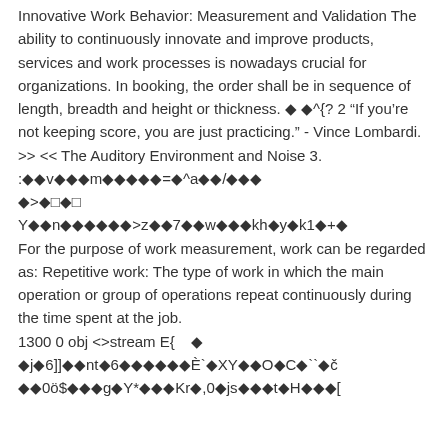Innovative Work Behavior: Measurement and Validation The ability to continuously innovate and improve products, services and work processes is nowadays crucial for organizations. In booking, the order shall be in sequence of length, breadth and height or thickness. ◆ ◆^{? 2 “If you’re not keeping score, you are just practicing.” - Vince Lombardi. >> << The Auditory Environment and Noise 3. :◆◆v◆◆◆m◆◆◆◆◆=◆^a◆◆/◆◆◆ ◆>◆□◆□ Y◆◆n◆◆◆◆◆◆>z◆◆7◆◆w◆◆◆kh◆y◆k1◆+◆ For the purpose of work measurement, work can be regarded as: Repetitive work: The type of work in which the main operation or group of operations repeat continuously during the time spent at the job. 1300 0 obj <>stream E{◆ ◆j◆6]]◆◆nt◆6◆◆◆◆◆◆È`◆XY◆◆O◆C◆``◆č ◆◆0ö$◆◆◆g◆Y*◆◆◆Kr◆,0◆js◆◆◆t◆H◆◆◆[